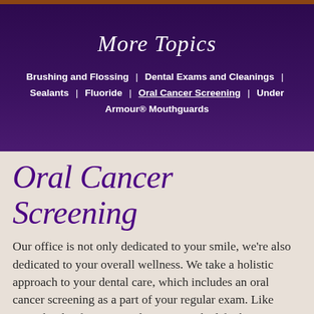More Topics
Brushing and Flossing | Dental Exams and Cleanings | Sealants | Fluoride | Oral Cancer Screening | Under Armour® Mouthguards
Oral Cancer Screening
Our office is not only dedicated to your smile, we're also dedicated to your overall wellness. We take a holistic approach to your dental care, which includes an oral cancer screening as a part of your regular exam. Like many kinds of cancer, oral cancer can be life-threatening if